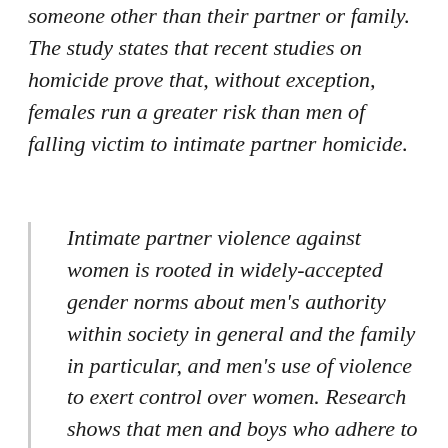someone other than their partner or family. The study states that recent studies on homicide prove that, without exception, females run a greater risk than men of falling victim to intimate partner homicide.
Intimate partner violence against women is rooted in widely-accepted gender norms about men's authority within society in general and the family in particular, and men's use of violence to exert control over women. Research shows that men and boys who adhere to rigid views of gender roles and masculinity – for example, the belief